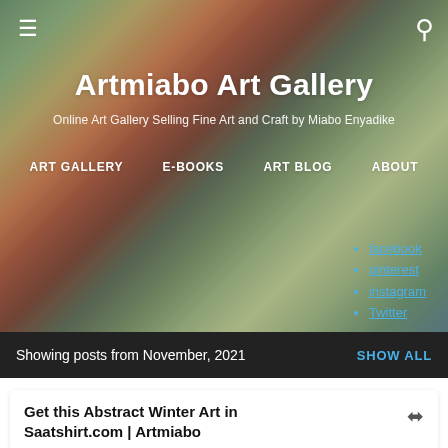[Figure (screenshot): Blurred colorful abstract art background image serving as hero banner for Artmiabo Art Gallery website.]
Artmiabo Art Gallery
Online Art Gallery Selling Fine Art and Craft by Miabo Enyadike
ART GALLERY
E-BOOKS
ART BLOG
ABOUT
facebook
pinterest
instagram
Twitter
Showing posts from November, 2021
SHOW ALL
Get this Abstract Winter Art in Saatshirt.com | Artmia bo